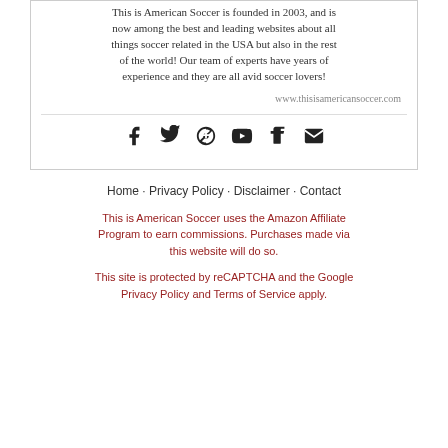This is American Soccer is founded in 2003, and is now among the best and leading websites about all things soccer related in the USA but also in the rest of the world! Our team of experts have years of experience and they are all avid soccer lovers!
www.thisisamericansoccer.com
[Figure (other): Social media icons row: Facebook, Twitter, Pinterest, YouTube, Tumblr, Email]
Home · Privacy Policy · Disclaimer · Contact
This is American Soccer uses the Amazon Affiliate Program to earn commissions. Purchases made via this website will do so.
This site is protected by reCAPTCHA and the Google Privacy Policy and Terms of Service apply.